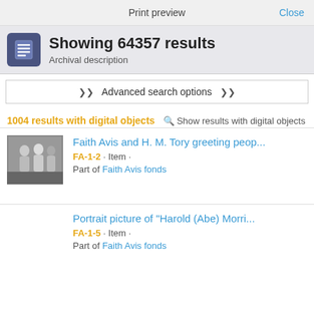Print preview   Close
Showing 64357 results
Archival description
Advanced search options
1004 results with digital objects  Show results with digital objects
Faith Avis and H. M. Tory greeting peop... FA-1-2 · Item · Part of Faith Avis fonds
Portrait picture of "Harold (Abe) Morri... FA-1-5 · Item · Part of Faith Avis fonds